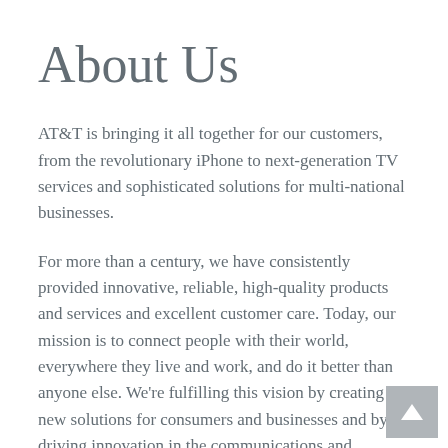About Us
AT&T is bringing it all together for our customers, from the revolutionary iPhone to next-generation TV services and sophisticated solutions for multi-national businesses.
For more than a century, we have consistently provided innovative, reliable, high-quality products and services and excellent customer care. Today, our mission is to connect people with their world, everywhere they live and work, and do it better than anyone else. We're fulfilling this vision by creating new solutions for consumers and businesses and by driving innovation in the communications and entertainment industry.
We're recognized as one of the leading worldwide